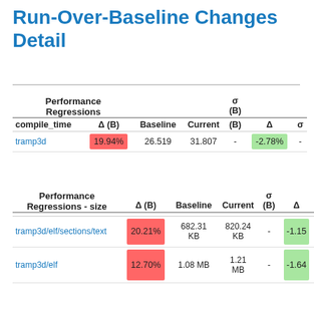Run-Over-Baseline Changes Detail
| compile_time | Δ (B) | Baseline | Current | σ (B) | Δ | σ |
| --- | --- | --- | --- | --- | --- | --- |
| tramp3d | 19.94% | 26.519 | 31.807 | - | -2.78% | - |
| Performance Regressions - size | Δ (B) | Baseline | Current | σ (B) | Δ |
| --- | --- | --- | --- | --- | --- |
| tramp3d/elf/sections/text | 20.21% | 682.31 KB | 820.24 KB | - | -1.15 |
| tramp3d/elf | 12.70% | 1.08 MB | 1.21 MB | - | -1.64 |